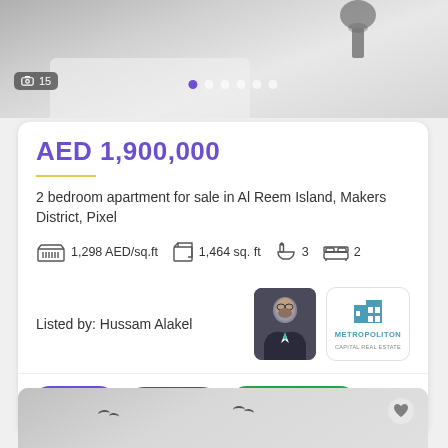[Figure (photo): Interior photo of a modern apartment, top portion showing white sofa and decorative vase]
AED 1,900,000
2 bedroom apartment for sale in Al Reem Island, Makers District, Pixel
1,298 AED/sq.ft   1,464 sq. ft   3   2
Listed by: Hussam Alakel
[Figure (photo): Agent headshot photo of Hussam Alakel in suit]
[Figure (logo): Metropolitan Capital Real Estate logo]
[Figure (photo): Bottom listing photo, partial view of another apartment interior]